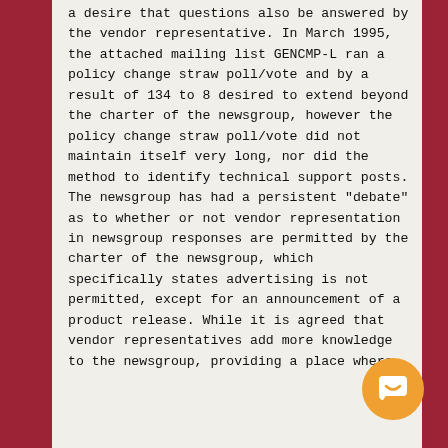a desire that questions also be answered by the vendor representative. In March 1995, the attached mailing list GENCMP-L ran a policy change straw poll/vote and by a result of 134 to 8 desired to extend beyond the charter of the newsgroup, however the policy change straw poll/vote did not maintain itself very long, nor did the method to identify technical support posts. The newsgroup has had a persistent "debate" as to whether or not vendor representation in newsgroup responses are permitted by the charter of the newsgroup, which specifically states advertising is not permitted, except for an announcement of a product release. While it is agreed that vendor representatives add more knowledge to the newsgroup, providing a place where